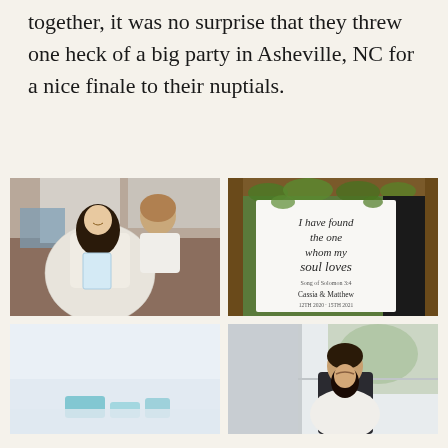together, it was no surprise that they threw one heck of a big party in Asheville, NC for a nice finale to their nuptials.
[Figure (photo): Bride in white lace dress sitting on a couch holding a small card, with groom smiling behind her]
[Figure (photo): Wedding banner sign reading 'I have found the one whom my soul loves' with names Cassia & Matthew and dates, hung under a pergola with greenery]
[Figure (photo): Light blue and white background photo, partially visible, appears to be a detail shot]
[Figure (photo): Bride and groom in an intimate moment near a window with outdoor greenery visible]